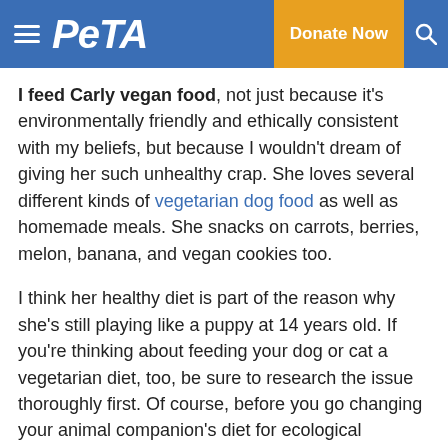PETA — Donate Now
I feed Carly vegan food, not just because it's environmentally friendly and ethically consistent with my beliefs, but because I wouldn't dream of giving her such unhealthy crap. She loves several different kinds of vegetarian dog food as well as homemade meals. She snacks on carrots, berries, melon, banana, and vegan cookies too.
I think her healthy diet is part of the reason why she's still playing like a puppy at 14 years old. If you're thinking about feeding your dog or cat a vegetarian diet, too, be sure to research the issue thoroughly first. Of course, before you go changing your animal companion's diet for ecological reasons, take a look at your own diet. If you're concerned about climate change and other environmental problems, yet you're still eating meat, eggs, or dairy products, it's time